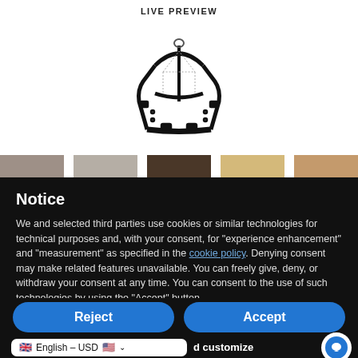LIVE PREVIEW
[Figure (illustration): Black leather dog harness product image on white background]
[Figure (other): Color swatch strip showing various leather color options: grey, light grey, dark brown, tan/beige, light brown]
Notice
We and selected third parties use cookies or similar technologies for technical purposes and, with your consent, for “experience enhancement” and “measurement” as specified in the cookie policy. Denying consent may make related features unavailable. You can freely give, deny, or withdraw your consent at any time. You can consent to the use of such technologies by using the “Accept” button.
Reject
Accept
English – USD
d customize